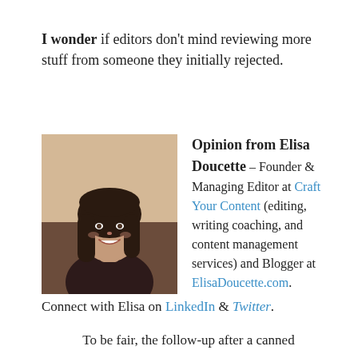I wonder if editors don't mind reviewing more stuff from someone they initially rejected.
[Figure (photo): Portrait photo of Elisa Doucette, a woman with dark hair, smiling, wearing a dark top, photographed indoors.]
Opinion from Elisa Doucette – Founder & Managing Editor at Craft Your Content (editing, writing coaching, and content management services) and Blogger at ElisaDoucette.com.
Connect with Elisa on LinkedIn & Twitter.
To be fair, the follow-up after a canned